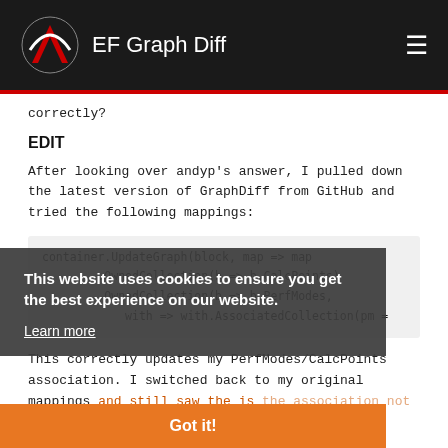EF Graph Diff
correctly?
EDIT
After looking over andyp's answer, I pulled down the latest version of GraphDiff from GitHub and tried the following mappings:
container.UpdateGraph(block, map => map
        .OwnedCollection(b => b.CalcPoints)
        .OwnedCollection(b => b.PerfModes,
            with => with.AssociatedCollection(pm =
This correctly updates my PerfModes/CalcPoints association. I switched back to my original mappings and still saw the is the association not updating, so it seems there's a problem with trying to
This website uses cookies to ensure you get the best experience on our website.
Learn more
Got it!